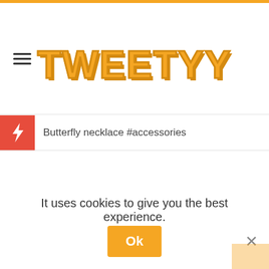TWEETYY
Butterfly necklace #accessories
It uses cookies to give you the best experience.
Ok